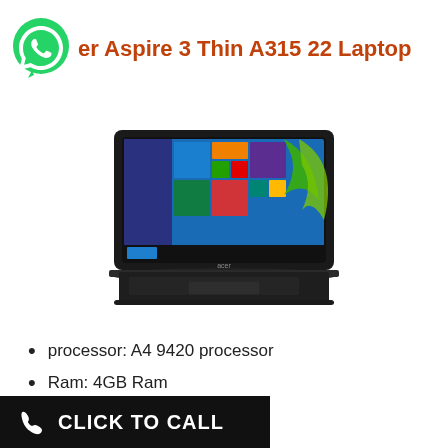Acer Aspire 3 Thin A315 22 Laptop
[Figure (photo): Acer Aspire 3 Thin A315 22 laptop open showing Windows 10 desktop with green splash design]
processor: A4 9420 processor
Ram: 4GB Ram
CLICK TO CALL